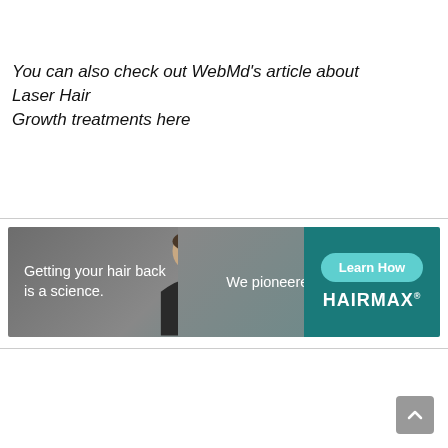You can also check out WebMd's article about Laser Hair Growth treatments here
[Figure (illustration): HairMax advertisement banner: left side shows text 'Getting your hair back is a science.' with a photo of a smiling man in a suit, center shows 'We pioneered it.', right teal panel shows a 'Learn How' button and 'HAIRMAX' branding]